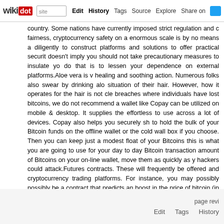wikidot | site | Edit | History | Tags | Source | Explore | Share on Twitter
country. Some nations have currently imposed strict regulation and c fairness, cryptocurrency safety on a enormous scale is by no means a diligently to construct platforms and solutions to offer practical securit doesn't imply you should not take precautionary measures to insulate yo do that is to lessen your dependence on external platforms.Aloe vera is v healing and soothing action. Numerous folks also swear by drinking alo situation of their hair. However, how it operates for the hair is not cle breaches where individuals have lost bitcoins, we do not recommend a wallet like Copay can be utilized on mobile & desktop. It supplies the effortless to use across a lot of devices. Copay also helps you securely sh to hold the bulk of your Bitcoin funds on the offline wallet or the cold wall box if you choose. Then you can keep just a modest float of your Bitcoins this is what you are going to use for your day to day Bitcoin transaction amount of Bitcoins on your on-line wallet, move them as quickly as y hackers could attack.Futures contracts. These will frequently be offered and cryptocurrency trading platforms. For instance, you may possibly possibly be a contract that predicts an boost in the price of bitcoin (in US is all about the cryptocurrency trading technique that you have almost c There are tons of cryptocurrency trading methods that promise to ma Guides understands that now absolutely everyone desires a piece of the place collectively the best Bitcoin trading strategy PDF. We have also c has a list of all of the greatest trading strategies we have produced. - Com
RSS feed
page revi | Edit | Tags | History